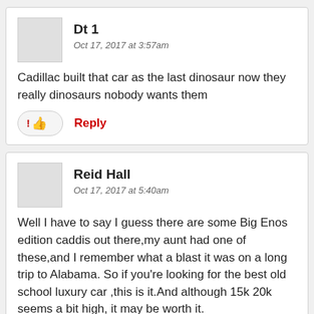Dt 1
Oct 17, 2017 at 3:57am
Cadillac built that car as the last dinosaur now they really dinosaurs nobody wants them
Reid Hall
Oct 17, 2017 at 5:40am
Well I have to say I guess there are some Big Enos edition caddis out there,my aunt had one of these,and I remember what a blast it was on a long trip to Alabama. So if you're looking for the best old school luxury car ,this is it.And although 15k 20k seems a bit high, it may be worth it.